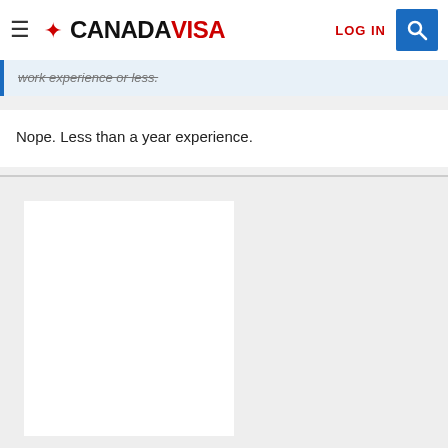CANADAVISA
work experience or less.
Nope. Less than a year experience.
[Figure (other): Advertisement placeholder - white rectangle on gray background]